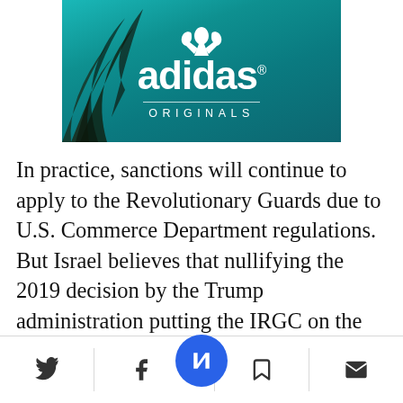[Figure (logo): Adidas Originals advertisement banner with teal/turquoise background, palm leaf on left side, trefoil logo at top, adidas wordmark in white, horizontal divider line, and ORIGINALS text below]
In practice, sanctions will continue to apply to the Revolutionary Guards due to U.S. Commerce Department regulations. But Israel believes that nullifying the 2019 decision by the Trump administration putting the IRGC on the terrorist list is a worrying symbolic move, indicating Washington's anxiousness to rid
[Figure (other): Mobile app bottom navigation bar with Twitter bird icon, Facebook f icon, centered blue circular Newsweek N button, bookmark icon, and email/envelope icon]